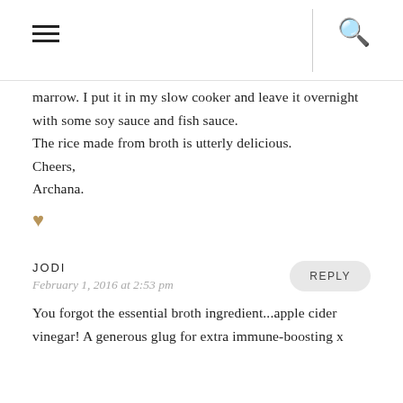☰  Q
marrow. I put it in my slow cooker and leave it overnight with some soy sauce and fish sauce.
The rice made from broth is utterly delicious.
Cheers,
Archana.
♥
JODI
February 1, 2016 at 2:53 pm
You forgot the essential broth ingredient...apple cider vinegar! A generous glug for extra immune-boosting x